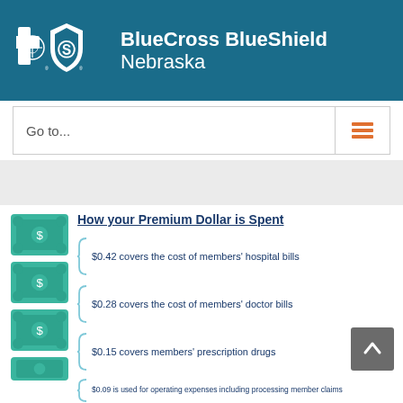[Figure (logo): BlueCross BlueShield Nebraska logo with two shield/cross icons on teal background]
Go to...
[Figure (infographic): How your Premium Dollar is Spent infographic showing four items: $0.42 covers the cost of members' hospital bills, $0.28 covers the cost of members' doctor bills, $0.15 covers members' prescription drugs, $0.09 is used for operating expenses including processing member claims]
How your Premium Dollar is Spent
$0.42 covers the cost of members' hospital bills
$0.28 covers the cost of members' doctor bills
$0.15 covers members' prescription drugs
$0.09 is used for operating expenses including processing member claims